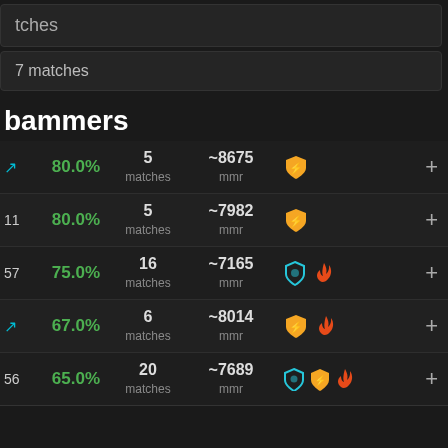tches
7 matches
bammers
| id | winrate | matches | mmr | badges | action |
| --- | --- | --- | --- | --- | --- |
| ↗ | 80.0% | 5 matches | ~8675 mmr | shield-orange | + |
| 11 | 80.0% | 5 matches | ~7982 mmr | shield-orange | + |
| 57 | 75.0% | 16 matches | ~7165 mmr | shield-teal flame | + |
| ↗ | 67.0% | 6 matches | ~8014 mmr | shield-orange flame | + |
| 56 | 65.0% | 20 matches | ~7689 mmr | shield-teal shield-orange flame | + |